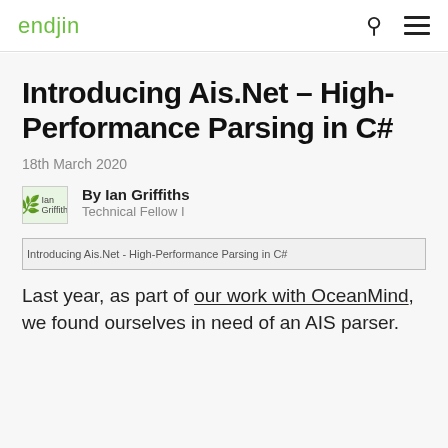endjin
Introducing Ais.Net - High-Performance Parsing in C#
18th March 2020
By Ian Griffiths
Technical Fellow I
[Figure (photo): Article header image placeholder: Introducing Ais.Net - High-Performance Parsing in C#]
Last year, as part of our work with OceanMind, we found ourselves in need of an AIS parser.